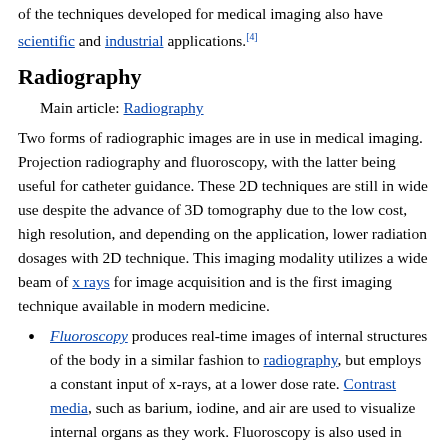of the techniques developed for medical imaging also have scientific and industrial applications.[4]
Radiography
Main article: Radiography
Two forms of radiographic images are in use in medical imaging. Projection radiography and fluoroscopy, with the latter being useful for catheter guidance. These 2D techniques are still in wide use despite the advance of 3D tomography due to the low cost, high resolution, and depending on the application, lower radiation dosages with 2D technique. This imaging modality utilizes a wide beam of x rays for image acquisition and is the first imaging technique available in modern medicine.
Fluoroscopy produces real-time images of internal structures of the body in a similar fashion to radiography, but employs a constant input of x-rays, at a lower dose rate. Contrast media, such as barium, iodine, and air are used to visualize internal organs as they work. Fluoroscopy is also used in image-guided procedures when constant feedback during a procedure is required. An image receptor is required to convert the radiation into an image after it has passed